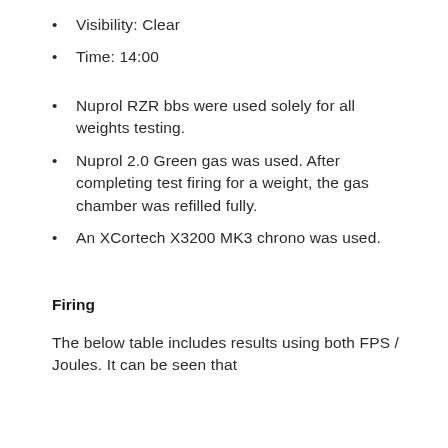Visibility: Clear
Time: 14:00
Nuprol RZR bbs were used solely for all weights testing.
Nuprol 2.0 Green gas was used. After completing test firing for a weight, the gas chamber was refilled fully.
An XCortech X3200 MK3 chrono was used.
Firing
The below table includes results using both FPS / Joules. It can be seen that